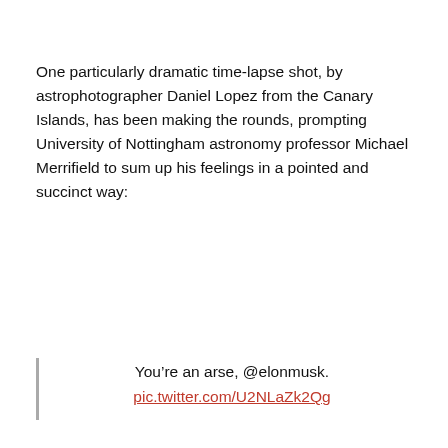One particularly dramatic time-lapse shot, by astrophotographer Daniel Lopez from the Canary Islands, has been making the rounds, prompting University of Nottingham astronomy professor Michael Merrifield to sum up his feelings in a pointed and succinct way:
You’re an arse, @elonmusk. pic.twitter.com/U2NLaZk2Qg